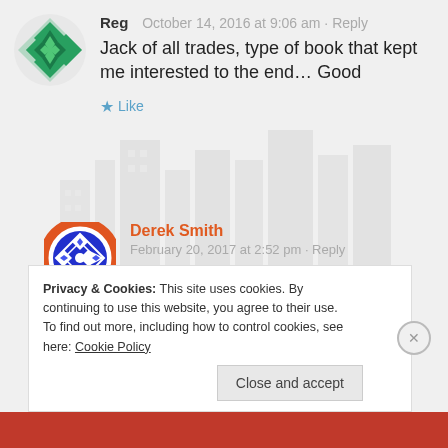[Figure (illustration): Green geometric diamond/quilt pattern avatar for user Reg]
Reg   October 14, 2016 at 9:06 am · Reply
Jack of all trades, type of book that kept me interested to the end… Good
★ Like
[Figure (illustration): Blue and orange geometric diamond pattern avatar for Derek Smith]
Derek Smith   February 20, 2017 at 2:52 pm · Reply
Glad you enjoyed the book, Reg.
Privacy & Cookies: This site uses cookies. By continuing to use this website, you agree to their use.
To find out more, including how to control cookies, see here: Cookie Policy
Close and accept